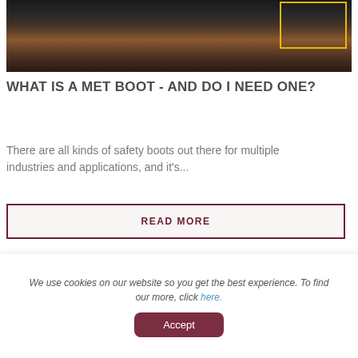[Figure (photo): Close-up photo of a black safety/work boot on muddy ground with yellow rectangular border overlay in top-right corner]
WHAT IS A MET BOOT - AND DO I NEED ONE?
There are all kinds of safety boots out there for multiple industries and applications, and it's...
READ MORE
[Figure (photo): Dark background photo with yellow rectangular border overlay, partially visible second article image]
We use cookies on our website so you get the best experience. To find our more, click here.
Accept